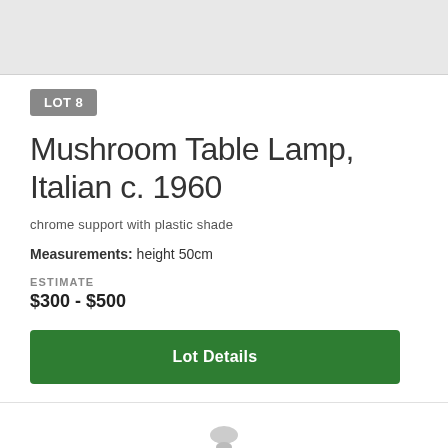[Figure (photo): Top portion of a product/auction photo, showing a gray placeholder image area]
LOT 8
Mushroom Table Lamp, Italian c. 1960
chrome support with plastic shade
Measurements: height 50cm
ESTIMATE
$300 - $500
Lot Details
[Figure (other): Partial view of next lot item at bottom of page]